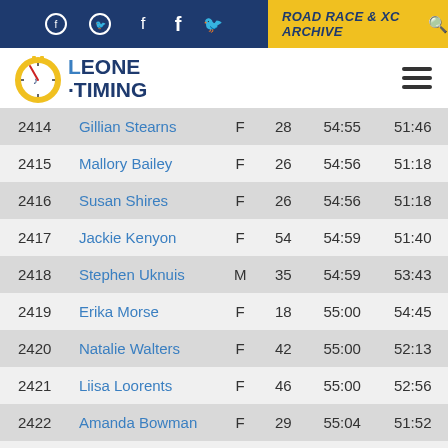ROAD RACE & XC ARCHIVE
[Figure (logo): Leone Timing logo with stopwatch icon]
| Bib | Name | Sex | Age | Gun Time | Net Time |
| --- | --- | --- | --- | --- | --- |
| 2414 | Gillian Stearns | F | 28 | 54:55 | 51:46 |
| 2415 | Mallory Bailey | F | 26 | 54:56 | 51:18 |
| 2416 | Susan Shires | F | 26 | 54:56 | 51:18 |
| 2417 | Jackie Kenyon | F | 54 | 54:59 | 51:40 |
| 2418 | Stephen Uknuis | M | 35 | 54:59 | 53:43 |
| 2419 | Erika Morse | F | 18 | 55:00 | 54:45 |
| 2420 | Natalie Walters | F | 42 | 55:00 | 52:13 |
| 2421 | Liisa Loorents | F | 46 | 55:00 | 52:56 |
| 2422 | Amanda Bowman | F | 29 | 55:04 | 51:52 |
| 2423 | Steven Riccio | M | 23 | 55:10 | 53:25 |